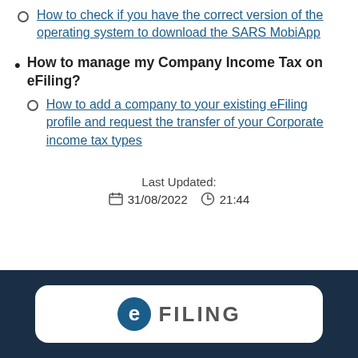How to check if you have the correct version of the operating system to download the SARS MobiApp
How to manage my Company Income Tax on eFiling?
How to add a company to your existing eFiling profile and request the transfer of your Corporate income tax types
Last Updated: 31/08/2022 21:44
[Figure (logo): eFiling logo — circular e icon with FILING text]